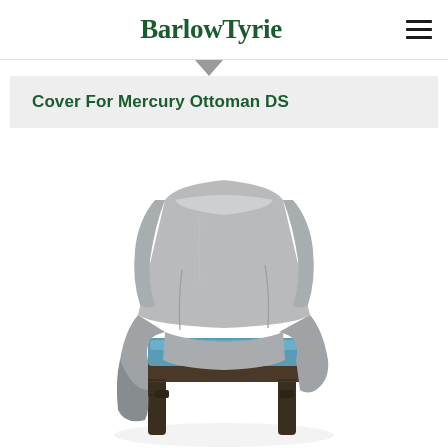BarlowTyrie
Cover For Mercury Ottoman DS
[Figure (photo): A grey protective cover draped over a wicker/rattan outdoor armchair with a blue cushion visible at the seat. The cover partially covers the chair leaving the blue cushion and wicker legs exposed.]